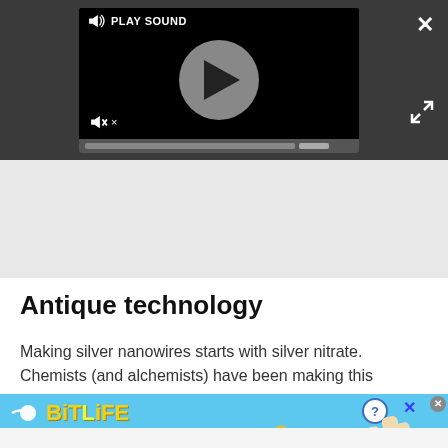[Figure (screenshot): Video player UI with dark background, play button circle, speaker/mute icons, PLAY SOUND label, progress bar, close X button, and expand icon]
Antique technology
Making silver nanowires starts with silver nitrate. Chemists (and alchemists) have been making this
[Figure (screenshot): BitLife advertisement banner: light blue background with BitLife logo in yellow, 'NOW WITH GOD MODE' text, hand pointing fingers graphic, question mark and X buttons]